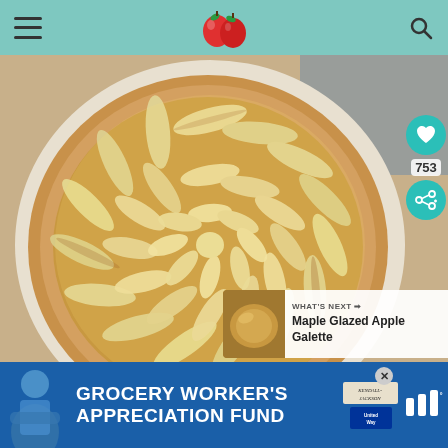Recipe website header with menu, logo, and search
[Figure (photo): Close-up photograph of a French-style apple tart with thinly sliced apples arranged in a spiral pattern on a fluted pastry crust, glazed golden-brown, on a white plate]
753
WHAT'S NEXT → Maple Glazed Apple Galette
[Figure (photo): Advertisement banner: Grocery Worker's Appreciation Fund featuring Kendall-Jackson and United Way logos]